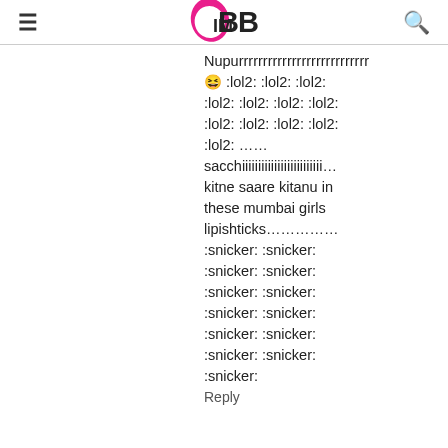IMBB
Nupurrrrrrrrrrrrrrrrrrrrrrrrrrr 😆 :lol2: :lol2: :lol2: :lol2: :lol2: :lol2: :lol2: :lol2: :lol2: :lol2: :lol2: :lol2: …… sacchiiiiiiiiiiiiiiiiiiiiiiiii… kitne saare kitanu in these mumbai girls lipishticks……………… :snicker: :snicker: :snicker: :snicker: :snicker: :snicker: :snicker: :snicker: :snicker: :snicker: :snicker: :snicker: :snicker: :snicker: :snicker: :snicker: :snicker: Reply